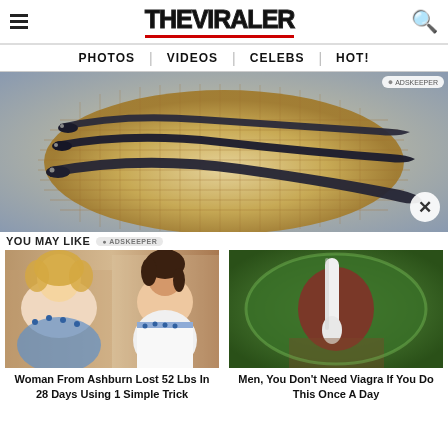THE VIRALER
PHOTOS | VIDEOS | CELEBS | HOT!
[Figure (photo): Three dark eels arranged on a round wicker/bamboo basket tray]
YOU MAY LIKE
[Figure (photo): Two women side by side: a larger woman in a blue-decorated white strapless dress on left, a slimmer woman in a similar dress on right; weight loss advertisement]
Woman From Ashburn Lost 52 Lbs In 28 Days Using 1 Simple Trick
[Figure (photo): Close-up of a green fruit (avocado) being opened with a white tool, medicine-style advertisement]
Men, You Don't Need Viagra If You Do This Once A Day